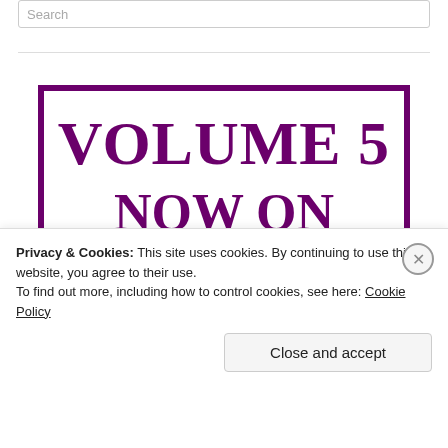Search
[Figure (illustration): Purple-bordered advertisement box with bold serif text reading 'VOLUME 5 NOW ON SALE' in purple, with a purple horizontal bar at the bottom.]
Privacy & Cookies: This site uses cookies. By continuing to use this website, you agree to their use.
To find out more, including how to control cookies, see here: Cookie Policy
Close and accept